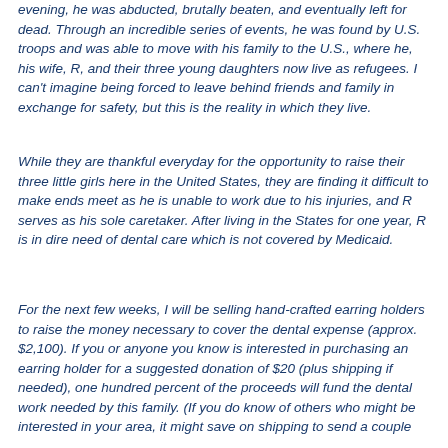evening, he was abducted, brutally beaten, and eventually left for dead. Through an incredible series of events, he was found by U.S. troops and was able to move with his family to the U.S., where he, his wife, R, and their three young daughters now live as refugees. I can't imagine being forced to leave behind friends and family in exchange for safety, but this is the reality in which they live.
While they are thankful everyday for the opportunity to raise their three little girls here in the United States, they are finding it difficult to make ends meet as he is unable to work due to his injuries, and R serves as his sole caretaker. After living in the States for one year, R is in dire need of dental care which is not covered by Medicaid.
For the next few weeks, I will be selling hand-crafted earring holders to raise the money necessary to cover the dental expense (approx. $2,100). If you or anyone you know is interested in purchasing an earring holder for a suggested donation of $20 (plus shipping if needed), one hundred percent of the proceeds will fund the dental work needed by this family. (If you do know of others who might be interested in your area, it might save on shipping to send a couple...